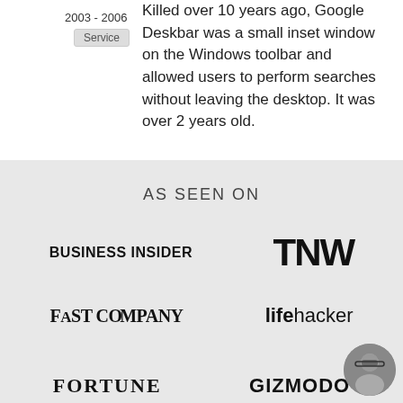2003 - 2006
Service
Killed over 10 years ago, Google Deskbar was a small inset window on the Windows toolbar and allowed users to perform searches without leaving the desktop. It was over 2 years old.
AS SEEN ON
[Figure (logo): BUSINESS INSIDER logo in bold uppercase black text]
[Figure (logo): TNW logo in large bold black letters]
[Figure (logo): FAST COMPANY logo in bold serif uppercase black text]
[Figure (logo): lifehacker logo with bold 'life' and regular 'hacker' in black]
[Figure (logo): FORTUNE logo in bold serif uppercase black text]
[Figure (logo): GIZMODO logo in bold uppercase black text]
[Figure (photo): Circular avatar photo of a man wearing glasses]